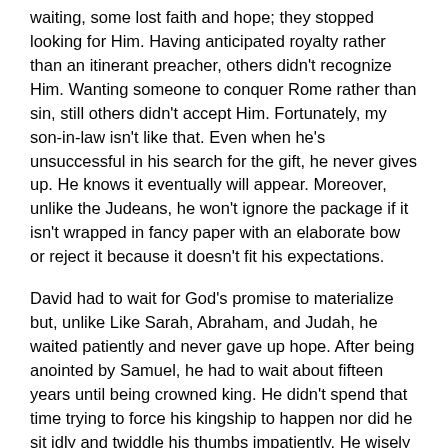waiting, some lost faith and hope; they stopped looking for Him. Having anticipated royalty rather than an itinerant preacher, others didn't recognize Him. Wanting someone to conquer Rome rather than sin, still others didn't accept Him. Fortunately, my son-in-law isn't like that. Even when he's unsuccessful in his search for the gift, he never gives up. He knows it eventually will appear. Moreover, unlike the Judeans, he won't ignore the package if it isn't wrapped in fancy paper with an elaborate bow or reject it because it doesn't fit his expectations.
David had to wait for God's promise to materialize but, unlike Like Sarah, Abraham, and Judah, he waited patiently and never gave up hope. After being anointed by Samuel, he had to wait about fifteen years until being crowned king. He didn't spend that time trying to force his kingship to happen nor did he sit idly and twiddle his thumbs impatiently. He wisely trusted God. The shepherd boy used his waiting time to prepare for the challenges of kingship by growing physically, intellectually, and spiritually so he was ready to receive